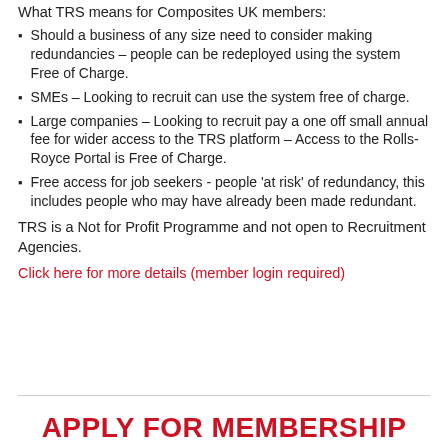What TRS means for Composites UK members:
Should a business of any size need to consider making redundancies – people can be redeployed using the system Free of Charge.
SMEs – Looking to recruit can use the system free of charge.
Large companies – Looking to recruit pay a one off small annual fee for wider access to the TRS platform – Access to the Rolls-Royce Portal is Free of Charge.
Free access for job seekers - people 'at risk' of redundancy, this includes people who may have already been made redundant.
TRS is a Not for Profit Programme and not open to Recruitment Agencies.
Click here for more details (member login required)
APPLY FOR MEMBERSHIP